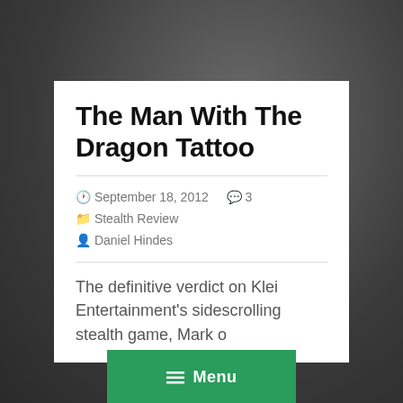The Man With The Dragon Tattoo
September 18, 2012  3  Stealth Review  Daniel Hindes
The definitive verdict on Klei Entertainment's sidescrolling stealth game, Mark o…